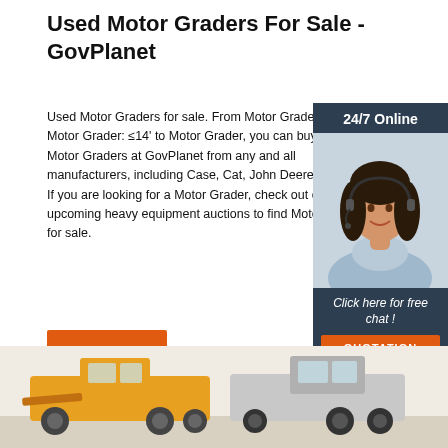Used Motor Graders For Sale - GovPlanet
Used Motor Graders for sale. From Motor Grader: >14' and Motor Grader: ≤14' to Motor Grader, you can buy and sell Motor Graders at GovPlanet from any and all manufacturers, including Case, Cat, John Deere, and more. If you are looking for a Motor Grader, check out our upcoming heavy equipment auctions to find Motor Graders for sale.
[Figure (illustration): Customer service representative with headset, 24/7 Online chat widget with orange QUOTATION button]
Get Price
[Figure (photo): Yellow motor graders / heavy construction equipment at bottom of page]